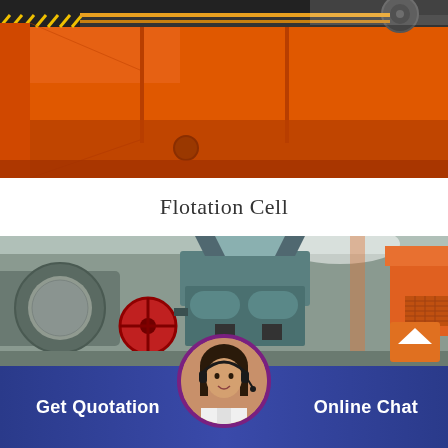[Figure (photo): Flotation cell machinery in orange industrial setting, showing rows of large orange metallic tanks/cells in a processing plant]
Flotation Cell
[Figure (photo): Double roll crusher or briquetting machine in industrial setting with orange and teal/green colored machinery components, red flywheel visible]
Get Quotation
Online Chat